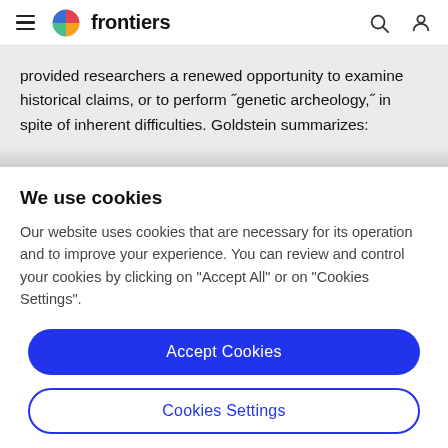frontiers
provided researchers a renewed opportunity to examine historical claims, or to perform "genetic archeology," in spite of inherent difficulties. Goldstein summarizes:
We use cookies
Our website uses cookies that are necessary for its operation and to improve your experience. You can review and control your cookies by clicking on "Accept All" or on "Cookies Settings".
Accept Cookies
Cookies Settings